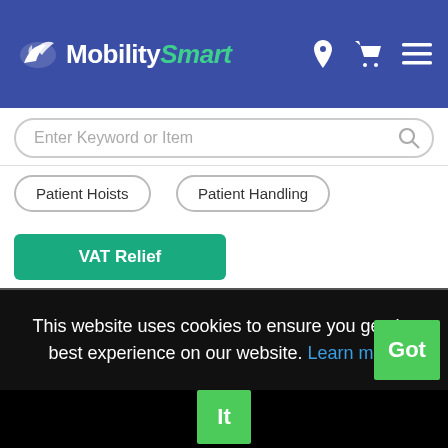MobilitySmart
Enter Keyword or Item
Patient Hoists
Patient Handling
VAT Relief
[Figure (photo): Open black equipment case containing medical hoist equipment, white tubes and red straps visible inside.]
This website uses cookies to ensure you get the best experience on our website. Learn more Got It